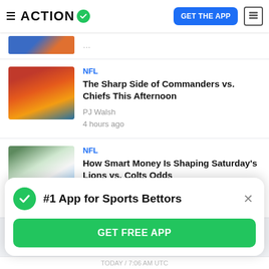ACTION — GET THE APP
[Figure (screenshot): Partial article thumbnail at top]
NFL
The Sharp Side of Commanders vs. Chiefs This Afternoon
PJ Walsh
4 hours ago
NFL
How Smart Money Is Shaping Saturday's Lions vs. Colts Odds
PJ Walsh
4 hours ago
#1 App for Sports Bettors
GET FREE APP
TODAY / 7:06 AM UTC